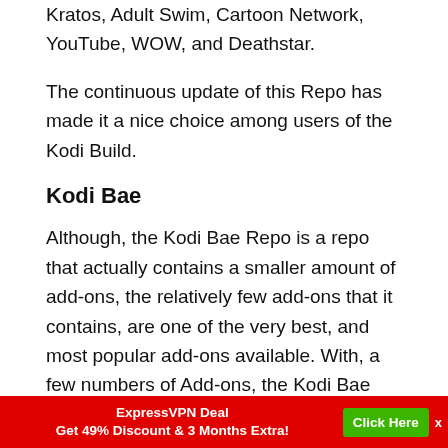Kratos, Adult Swim, Cartoon Network, YouTube, WOW, and Deathstar.
The continuous update of this Repo has made it a nice choice among users of the Kodi Build.
Kodi Bae
Although, the Kodi Bae Repo is a repo that actually contains a smaller amount of add-ons, the relatively few add-ons that it contains, are one of the very best, and most popular add-ons available. With, a few numbers of Add-ons, the Kodi Bae add-on has a less than a substantial quantity of add-ons. Just that the few add-ons that are available are
ExpressVPN Deal Get 49% Discount & 3 Months Extra! Click Here x